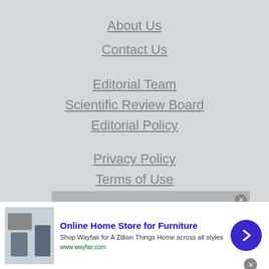About Us
Contact Us
Editorial Team
Scientific Review Board
Editorial Policy
Privacy Policy
Terms of Use
Cookies Policy
©copyright
[Figure (screenshot): Video player overlay with message: No compatible source was found for this media]
[Figure (screenshot): Advertisement banner for Wayfair Online Home Store for Furniture]